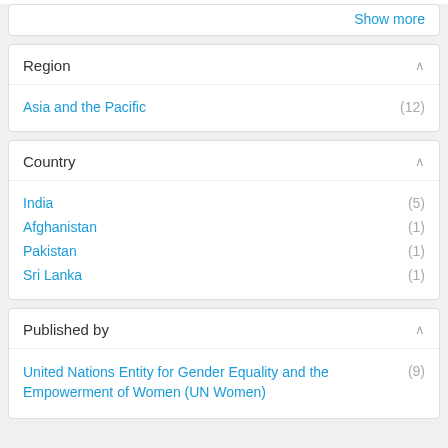Show more
Region
Asia and the Pacific (12)
Country
India (5)
Afghanistan (1)
Pakistan (1)
Sri Lanka (1)
Published by
United Nations Entity for Gender Equality and the Empowerment of Women (UN Women) (9)